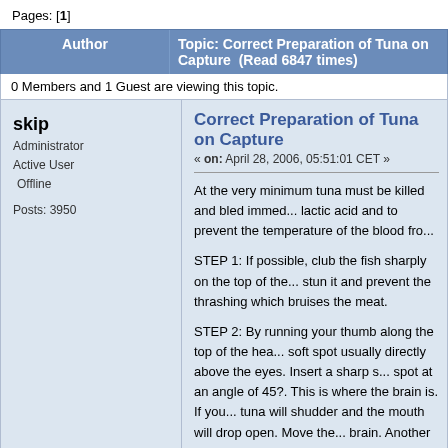Pages: [1]
| Author | Topic: Correct Preparation of Tuna on Capture  (Read 6847 times) |
| --- | --- |
0 Members and 1 Guest are viewing this topic.
skip
Administrator
Active User
Offline
Posts: 3950
Correct Preparation of Tuna on Capture
« on: April 28, 2006, 05:51:01 CET »
At the very minimum tuna must be killed and bled immed... lactic acid and to prevent the temperature of the blood fro...
STEP 1: If possible, club the fish sharply on the top of the... stun it and prevent the thrashing which bruises the meat.
STEP 2: By running your thumb along the top of the hea... soft spot usually directly above the eyes. Insert a sharp s... spot at an angle of 45?. This is where the brain is. If you... tuna will shudder and the mouth will drop open. Move the... brain. Another step called the Tanaguchi Method also see... monofilament run along the backbone to neutralise the ne...
STEP 3: Lift the pectoral (side) fins and measure about 4... pectoral fin. Cut an incision about 2cm long vertically. Blo... the cut. Do both sides. It's a good idea to tail rope your tu... over the side before you do this. There is lots of blood an...